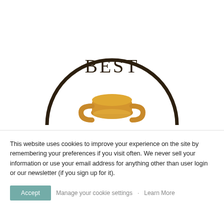[Figure (illustration): A circular badge/seal with dark brown border showing the word BEST in serif font, with a golden trophy/urn below it. The top half of the circle is visible, cropped at the bottom.]
This website uses cookies to improve your experience on the site by remembering your preferences if you visit often. We never sell your information or use your email address for anything other than user login or our newsletter (if you sign up for it).
Accept   Manage your cookie settings   Learn More